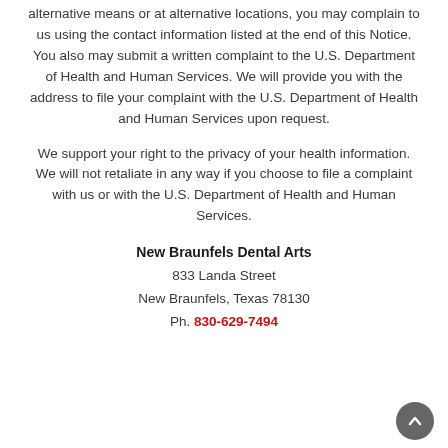alternative means or at alternative locations, you may complain to us using the contact information listed at the end of this Notice. You also may submit a written complaint to the U.S. Department of Health and Human Services. We will provide you with the address to file your complaint with the U.S. Department of Health and Human Services upon request.
We support your right to the privacy of your health information. We will not retaliate in any way if you choose to file a complaint with us or with the U.S. Department of Health and Human Services.
New Braunfels Dental Arts
833 Landa Street
New Braunfels, Texas 78130
Ph. 830-629-7494